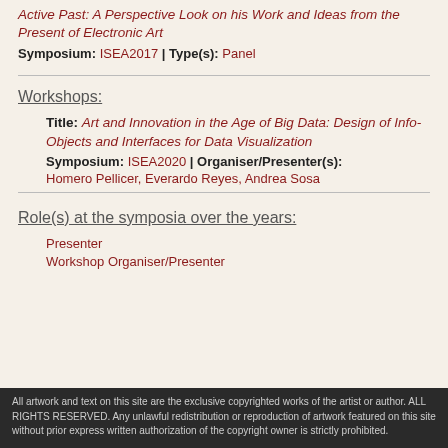Active Past: A Perspective Look on his Work and Ideas from the Present of Electronic Art
Symposium: ISEA2017 | Type(s): Panel
Workshops:
Title: Art and Innovation in the Age of Big Data: Design of Info-Objects and Interfaces for Data Visualization
Symposium: ISEA2020 | Organiser/Presenter(s): Homero Pellicer, Everardo Reyes, Andrea Sosa
Role(s) at the symposia over the years:
Presenter
Workshop Organiser/Presenter
All artwork and text on this site are the exclusive copyrighted works of the artist or author. ALL RIGHTS RESERVED. Any unlawful redistribution or reproduction of artwork featured on this site without prior express written authorization of the copyright owner is strictly prohibited.